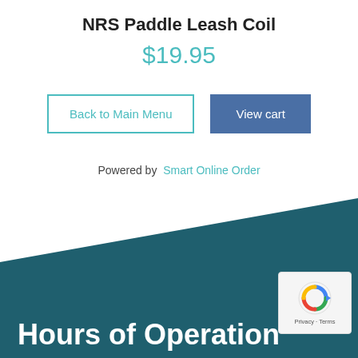NRS Paddle Leash Coil
$19.95
Back to Main Menu
View cart
Powered by  Smart Online Order
Hours of Operation